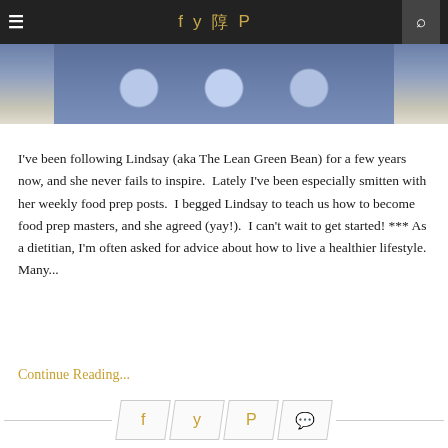≡ f 🐦 📷 𝗽 🔍
[Figure (photo): Partial food photo showing items on a blue patterned plate/surface, cropped at top of page]
I've been following Lindsay (aka The Lean Green Bean) for a few years now, and she never fails to inspire.  Lately I've been especially smitten with her weekly food prep posts.  I begged Lindsay to teach us how to become food prep masters, and she agreed (yay!).  I can't wait to get started! *** As a dietitian, I'm often asked for advice about how to live a healthier lifestyle. Many...
Continue Reading...